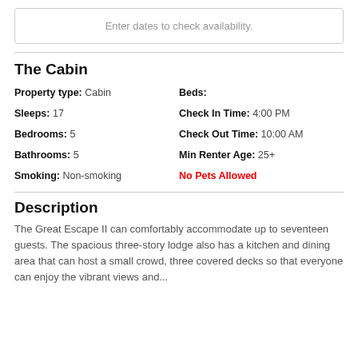Enter dates to check availability.
The Cabin
Property type: Cabin
Beds:
Sleeps: 17
Check In Time: 4:00 PM
Bedrooms: 5
Check Out Time: 10:00 AM
Bathrooms: 5
Min Renter Age: 25+
Smoking: Non-smoking
No Pets Allowed
Description
The Great Escape II can comfortably accommodate up to seventeen guests. The spacious three-story lodge also has a kitchen and dining area that can host a small crowd, three covered decks so that everyone can enjoy the vibrant views and...